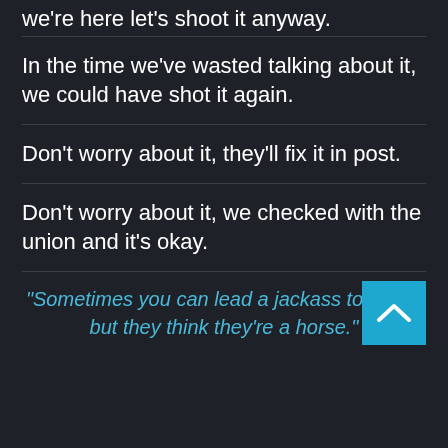we're here let's shoot it anyway.
In the time we've wasted talking about it, we could have shot it again.
Don't worry about it, they'll fix it in post.
Don't worry about it, we checked with the union and it's okay.
“Sometimes you can lead a jackass to water, but they think they’re a horse.”